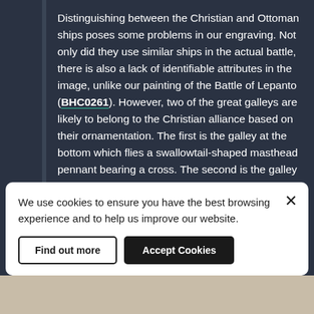Distinguishing between the Christian and Ottoman ships poses some problems in our engraving. Not only did they use similar ships in the actual battle, there is also a lack of identifiable attributes in the image, unlike our painting of the Battle of Lepanto (BHC0261). However, two of the great galleys are likely to belong to the Christian alliance based on their ornamentation. The first is the galley at the bottom which flies a swallowtail-shaped masthead pennant bearing a cross. The second is the galley positioned directly above this flag; a panel on the side of the stern contains three figures. The winged figure in the centre is likely to be Cupid,
We use cookies to ensure you have the best browsing experience and to help us improve our website.